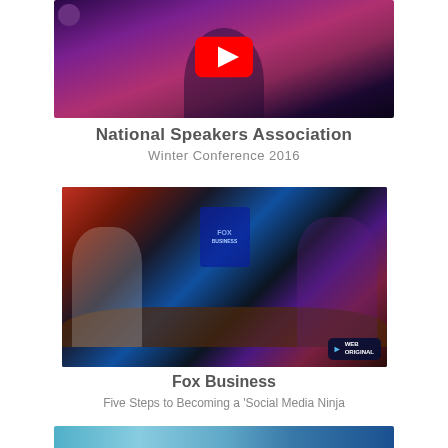[Figure (screenshot): YouTube video thumbnail showing a woman on stage with a YouTube play button overlay, purple/red background]
National Speakers Association
Winter Conference 2016
[Figure (screenshot): Fox Business TV segment screenshot showing two women sitting at a news desk, with a 'Web Original' badge in the bottom right corner]
Fox Business
Five Steps to Becoming a 'Social Media Ninja
[Figure (screenshot): Partial screenshot at bottom of page, teal/blue toned image]